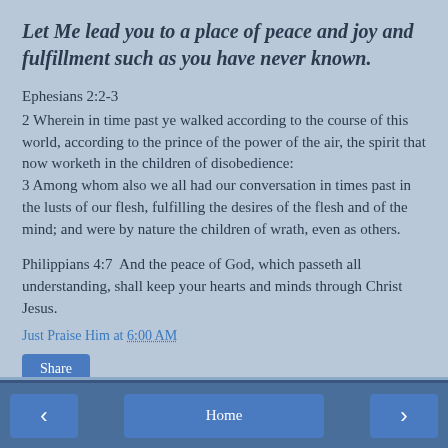Let Me lead you to a place of peace and joy and fulfillment such as you have never known.
Ephesians 2:2-3
2 Wherein in time past ye walked according to the course of this world, according to the prince of the power of the air, the spirit that now worketh in the children of disobedience:
3 Among whom also we all had our conversation in times past in the lusts of our flesh, fulfilling the desires of the flesh and of the mind; and were by nature the children of wrath, even as others.
Philippians 4:7  And the peace of God, which passeth all understanding, shall keep your hearts and minds through Christ Jesus.
Just Praise Him at 6:00 AM
Share
Home